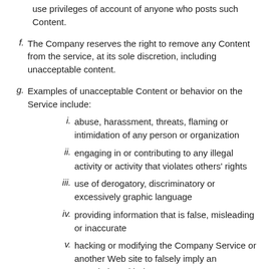use privileges of account of anyone who posts such Content.
f. The Company reserves the right to remove any Content from the service, at its sole discretion, including unacceptable content.
g. Examples of unacceptable Content or behavior on the Service include:
i. abuse, harassment, threats, flaming or intimidation of any person or organization
ii. engaging in or contributing to any illegal activity or activity that violates others' rights
iii. use of derogatory, discriminatory or excessively graphic language
iv. providing information that is false, misleading or inaccurate
v. hacking or modifying the Company Service or another Web site to falsely imply an association with the Company
vi. implying or pretending to be affiliated with a company or organization with which you are